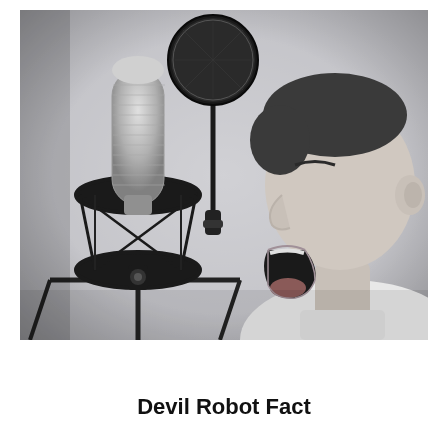[Figure (photo): Black and white photo of a boy shouting into a studio condenser microphone mounted on a shock mount with a pop filter]
Devil Robot Fact